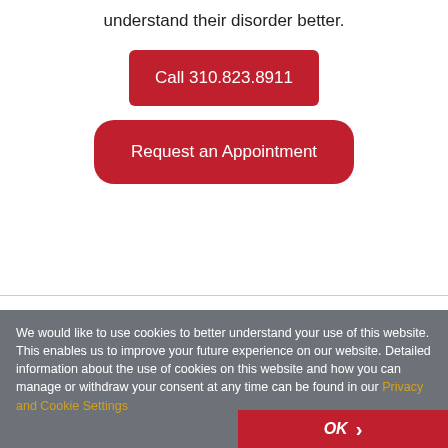understand their disorder better.
Call 310.823.8911
Request an Appointment
We would like to use cookies to better understand your use of this website. This enables us to improve your future experience on our website. Detailed information about the use of cookies on this website and how you can manage or withdraw your consent at any time can be found in our Privacy and Cookie Settings
OK >